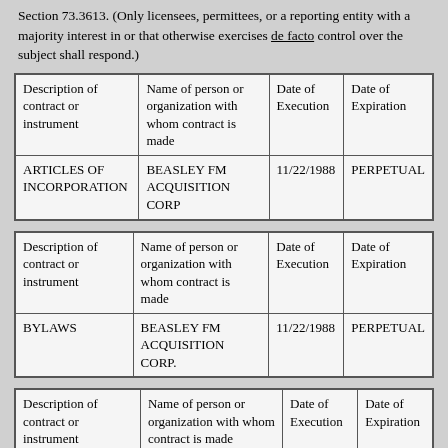Section 73.3613. (Only licensees, permittees, or a reporting entity with a majority interest in or that otherwise exercises de facto control over the subject shall respond.)
| Description of contract or instrument | Name of person or organization with whom contract is made | Date of Execution | Date of Expiration |
| --- | --- | --- | --- |
| ARTICLES OF INCORPORATION | BEASLEY FM ACQUISITION CORP | 11/22/1988 | PERPETUAL |
| Description of contract or instrument | Name of person or organization with whom contract is made | Date of Execution | Date of Expiration |
| --- | --- | --- | --- |
| BYLAWS | BEASLEY FM ACQUISITION CORP. | 11/22/1988 | PERPETUAL |
| Description of contract or instrument | Name of person or organization with whom contract is made | Date of Execution | Date of Expiration |
| --- | --- | --- | --- |
|  | FOR THE BENEFIT OF |  |  |